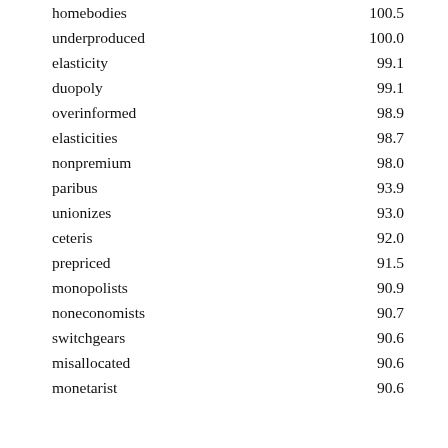| word | score |
| --- | --- |
| homebodies | 100.5 |
| underproduced | 100.0 |
| elasticity | 99.1 |
| duopoly | 99.1 |
| overinformed | 98.9 |
| elasticities | 98.7 |
| nonpremium | 98.0 |
| paribus | 93.9 |
| unionizes | 93.0 |
| ceteris | 92.0 |
| prepriced | 91.5 |
| monopolists | 90.9 |
| noneconomists | 90.7 |
| switchgears | 90.6 |
| misallocated | 90.6 |
| monetarist | 90.6 |